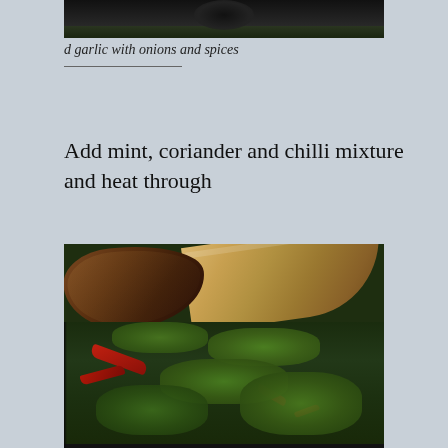[Figure (photo): Partial view of a dark cooking pan with food, top of image]
d garlic with onions and spices
Add mint, coriander and chilli mixture and heat through
[Figure (photo): A wooden spoon stirring a mixture of chopped mint, coriander, chilli and other herbs and spices in a dark non-stick pan]